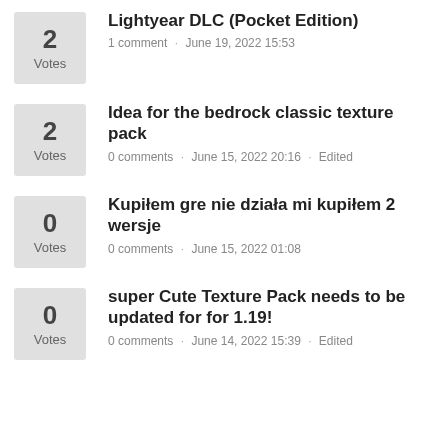2 Votes | Lightyear DLC (Pocket Edition) | 1 comment · June 19, 2022 15:53
2 Votes | Idea for the bedrock classic texture pack | 0 comments · June 15, 2022 20:16 · Edited
0 Votes | Kupiłem gre nie działa mi kupiłem 2 wersje | 0 comments · June 15, 2022 01:08
0 Votes | super Cute Texture Pack needs to be updated for for 1.19! | 0 comments · June 14, 2022 15:39 · Edited